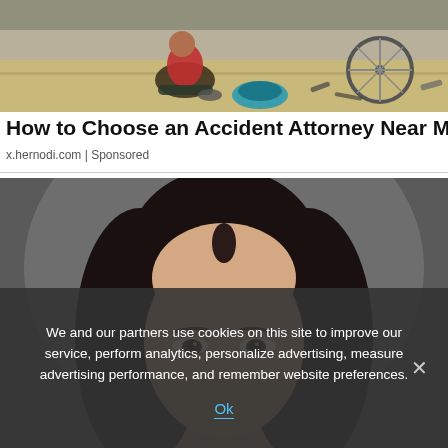[Figure (photo): A person sitting on the ground near an overturned bicycle after an accident, holding their injured leg. A broken bicycle wheel and debris are visible.]
How to Choose an Accident Attorney Near Me
x.hernodi.com | Sponsored
[Figure (photo): A close-up portrait of a young Asian woman with long dark hair against a dark grey background, eyes looking slightly upward.]
We and our partners use cookies on this site to improve our service, perform analytics, personalize advertising, measure advertising performance, and remember website preferences.
Ok